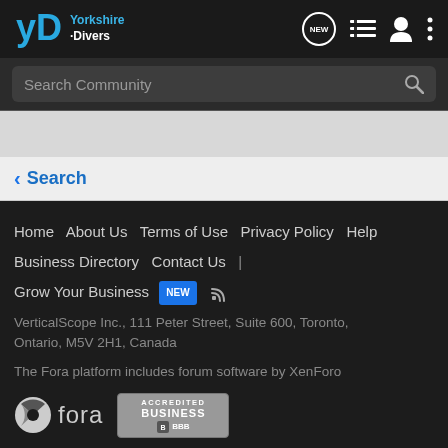Yorkshire Divers — Navigation bar with logo, NEW icon, list icon, user icon, more icon
Search Community
< Search
Home  About Us  Terms of Use  Privacy Policy  Help  Business Directory  Contact Us  |  Grow Your Business  NEW  [RSS]

VerticalScope Inc., 111 Peter Street, Suite 600, Toronto, Ontario, M5V 2H1, Canada

The Fora platform includes forum software by XenForo

fora  BBB ACCREDITED BUSINESS